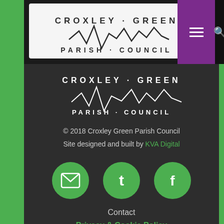[Figure (logo): Croxley Green Parish Council logo in white on dark background, top left]
[Figure (logo): Croxley Green Parish Council logo centered in white on dark background]
© 2018 Croxley Green Parish Council
Site designed and built by KVA Digital
[Figure (illustration): Three green circular icon buttons: email/envelope, Twitter bird, Facebook f]
Contact
Privacy & Cookie Policy
Disclaimer: All images and logos are copyrighted to their respective owners.